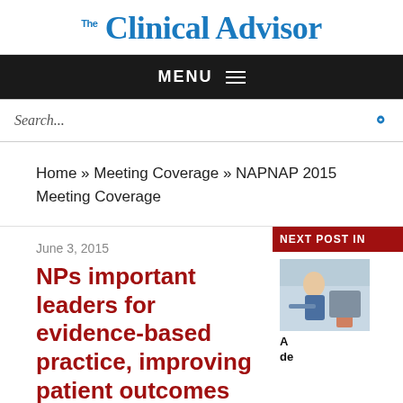Clinical Advisor
MENU
Search...
Home » Meeting Coverage » NAPNAP 2015 Meeting Coverage
June 3, 2015
NPs important leaders for evidence-based practice, improving patient outcomes
NEXT POST IN
[Figure (photo): Photo of a healthcare professional with a child patient]